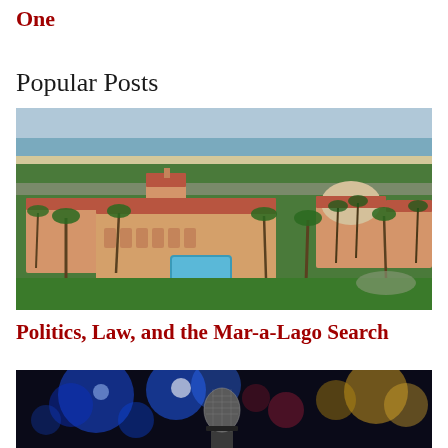One
Popular Posts
[Figure (photo): Aerial photograph of Mar-a-Lago estate in Palm Beach, Florida, showing Mediterranean-style buildings with red tile roofs, a swimming pool, palm trees, green lawn, and ocean in the background.]
Politics, Law, and the Mar-a-Lago Search
[Figure (photo): Close-up photograph of a microphone against a blurred bokeh background of colorful stage lights in blue, red, and gold tones.]